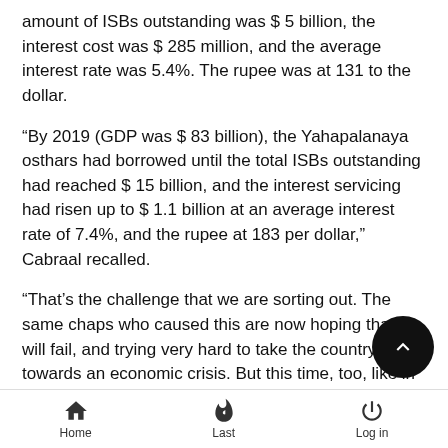amount of ISBs outstanding was $ 5 billion, the interest cost was $ 285 million, and the average interest rate was 5.4%. The rupee was at 131 to the dollar.
“By 2019 (GDP was $ 83 billion), the Yahapalanaya osthars had borrowed until the total ISBs outstanding had reached $ 15 billion, and the interest servicing had risen up to $ 1.1 billion at an average interest rate of 7.4%, and the rupee at 183 per dollar,” Cabraal recalled.
“That’s the challenge that we are sorting out. The same chaps who caused this are now hoping that we will fail, and trying very hard to take the country towards an economic crisis. But this time, too, like in 2007 to 2009, they will be disappointed,” he added.
http://www.ft.lk/front-page/Nivard-says-doomsayers-will-be-disappointed-again/44-713622
Home  Last  Log in